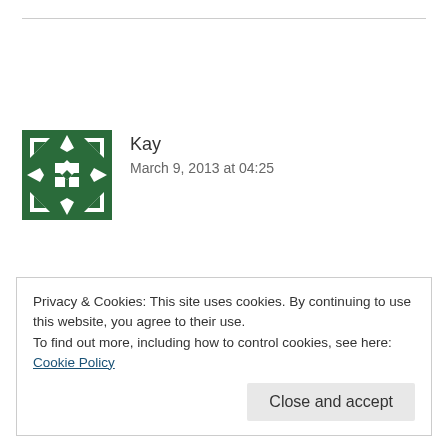[Figure (illustration): Green geometric/celtic knot style avatar icon for user Kay]
Kay
March 9, 2013 at 04:25
My favourite hot drink is hot chocolate with cream and marshmallows on it. Thanks for a lovely giveaway.
Privacy & Cookies: This site uses cookies. By continuing to use this website, you agree to their use.
To find out more, including how to control cookies, see here: Cookie Policy
Close and accept